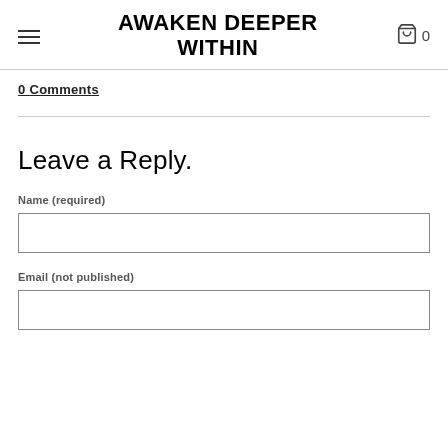AWAKEN DEEPER WITHIN
0 Comments
Leave a Reply.
Name (required)
Email (not published)